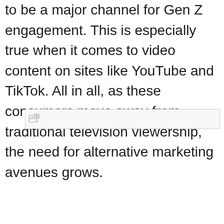to be a major channel for Gen Z engagement. This is especially true when it comes to video content on sites like YouTube and TikTok. All in all, as these consumers move away from traditional television viewership, the need for alternative marketing avenues grows.
[Figure (other): Broken image placeholder icon with border]